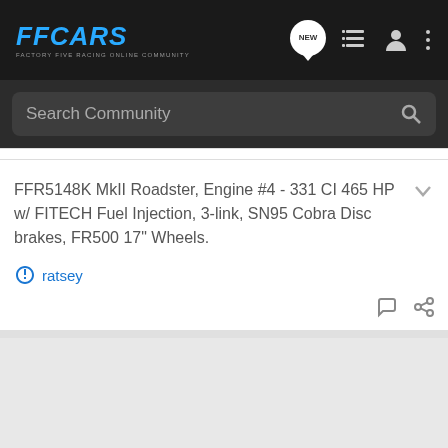FFCARS Factory Five Racing Online Community — navigation bar with logo, NEW, list, user, and menu icons
Search Community
FFR5148K MkII Roadster, Engine #4 - 331 CI 465 HP w/ FITECH Fuel Injection, 3-link, SN95 Cobra Disc brakes, FR500 17" Wheels.
ratsey
Frank Messina · Moderator
Joined Mar 17, 2002 · 6,339 Posts